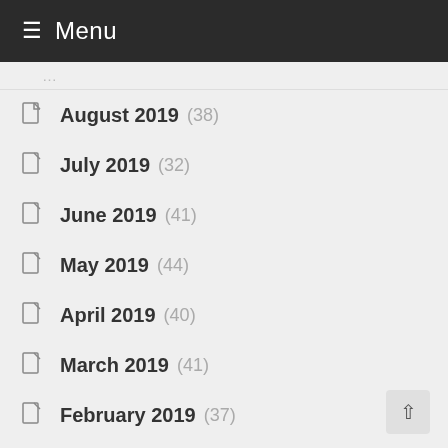Menu
August 2019 (38)
July 2019 (32)
June 2019 (41)
May 2019 (44)
April 2019 (40)
March 2019 (41)
February 2019 (37)
January 2019 (54)
December 2018 (44)